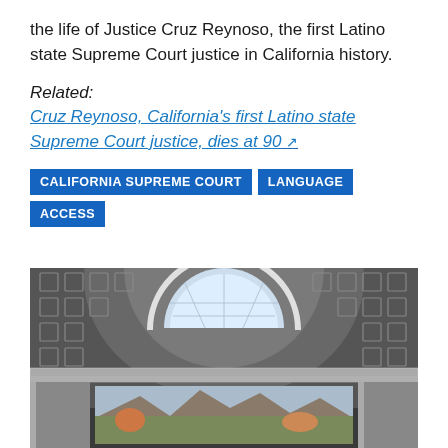the life of Justice Cruz Reynoso, the first Latino state Supreme Court justice in California history.
Related:
Cruz Reynoso, California's first Latino state Supreme Court justice, dies at 90 [external link]
CALIFORNIA SUPREME COURT
LANGUAGE ACCESS
[Figure (photo): Interior architectural photo looking up at a domed ceiling with a semicircular skylight window, ornate coffered plasterwork, and a landscape mural visible below the arch.]